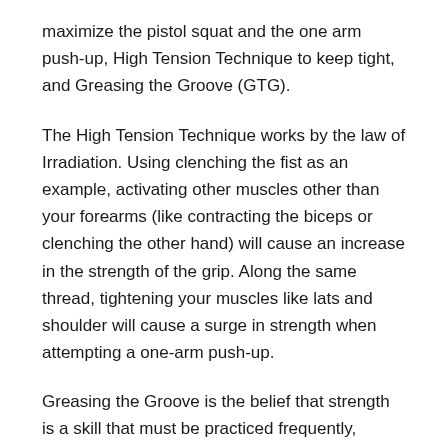maximize the pistol squat and the one arm push-up, High Tension Technique to keep tight, and Greasing the Groove (GTG).
The High Tension Technique works by the law of Irradiation. Using clenching the fist as an example, activating other muscles other than your forearms (like contracting the biceps or clenching the other hand) will cause an increase in the strength of the grip. Along the same thread, tightening your muscles like lats and shoulder will cause a surge in strength when attempting a one-arm push-up.
Greasing the Groove is the belief that strength is a skill that must be practiced frequently, flawlessly, while focused and fresh. Practice must be perfect, and fatigue is the enemy of perfection. Pavel advocates never doing a set to failure, but instead limits all sets to 5 reps or less and stopping before the skill begins deteriorating. Pavel also believes in training frequently, 6 times a